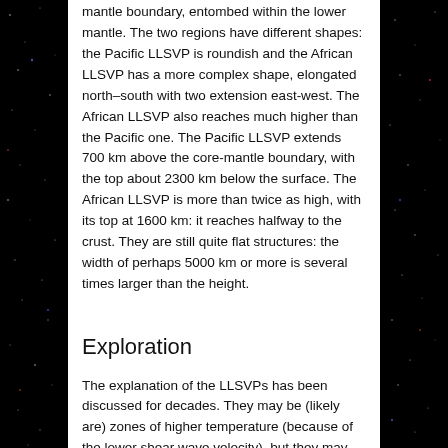mantle boundary, entombed within the lower mantle. The two regions have different shapes: the Pacific LLSVP is roundish and the African LLSVP has a more complex shape, elongated north–south with two extension east-west. The African LLSVP also reaches much higher than the Pacific one. The Pacific LLSVP extends 700 km above the core-mantle boundary, with the top about 2300 km below the surface. The African LLSVP is more than twice as high, with its top at 1600 km: it reaches halfway to the crust. They are still quite flat structures: the width of perhaps 5000 km or more is several times larger than the height.
Exploration
The explanation of the LLSVPs has been discussed for decades. They may be (likely are) zones of higher temperature (because of the lower shear wave velocity), but they may (likely do) consist of rock with different composition. Perhaps they are both. The first suggestion are the so-called 'thermal